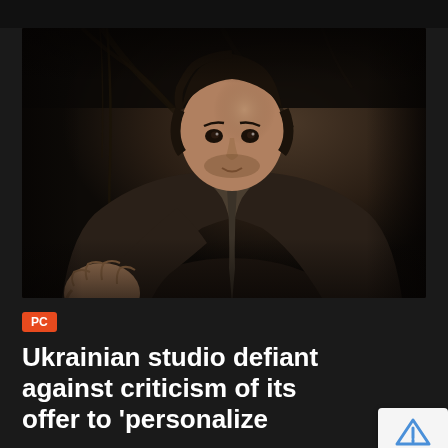[Figure (screenshot): Dark atmospheric screenshot from a video game showing a male character in Victorian-era clothing holding a lantern, dark moody background with branches]
PC
Ukrainian studio defiant against criticism of its offer to 'personalize